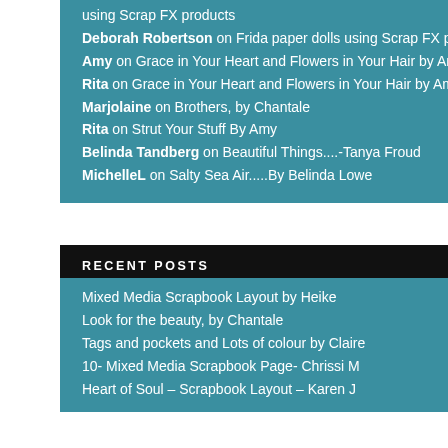using Scrap FX products
Deborah Robertson on Frida paper dolls using Scrap FX products
Amy on Grace in Your Heart and Flowers in Your Hair by Amy.
Rita on Grace in Your Heart and Flowers in Your Hair by Amy.
Marjolaine on Brothers, by Chantale
Rita on Strut Your Stuff By Amy
Belinda Tandberg on Beautiful Things....-Tanya Froud
MichelleL on Salty Sea Air.....By Belinda Lowe
RECENT POSTS
Mixed Media Scrapbook Layout by Heike
Look for the beauty, by Chantale
Tags and pockets and Lots of colour by Claire
10- Mixed Media Scrapbook Page- Chrissi M
Heart of Soul – Scrapbook Layout – Karen J